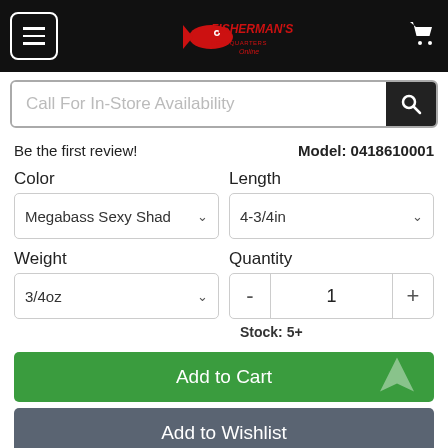[Figure (screenshot): Fisherman's Headquarters Online store nav bar with hamburger menu, logo, and cart icon]
Call For In-Store Availability
Be the first review!
Model: 0418610001
Color
Megabass Sexy Shad
Length
4-3/4in
Weight
3/4oz
Quantity
1
Stock: 5+
Add to Cart
Add to Wishlist